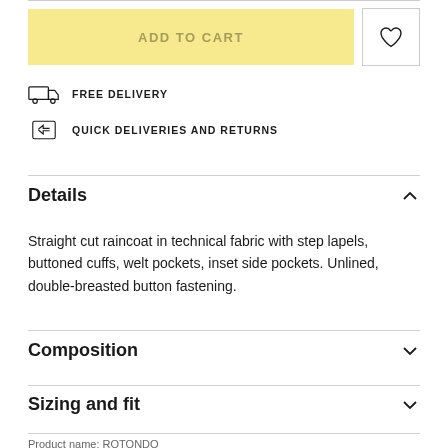ADD TO CART
FREE DELIVERY
QUICK DELIVERIES AND RETURNS
Details
Straight cut raincoat in technical fabric with step lapels, buttoned cuffs, welt pockets, inset side pockets. Unlined, double-breasted button fastening.
Composition
Sizing and fit
Product name: ROTONDO